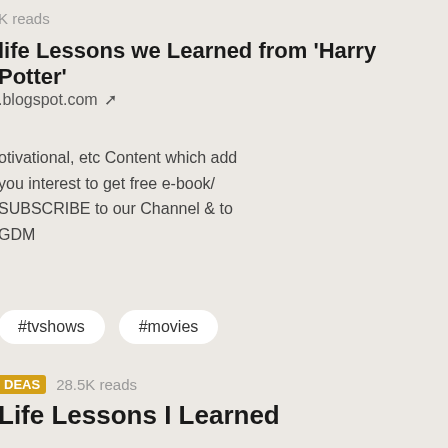K reads
life Lessons we Learned from 'Harry Potter'
.blogspot.com ↗
otivational, etc Content which add
you interest to get free e-book/
SUBSCRIBE to our Channel & to
GDM
#tvshows
#movies
DEAS  28.5K reads
Life Lessons I Learned